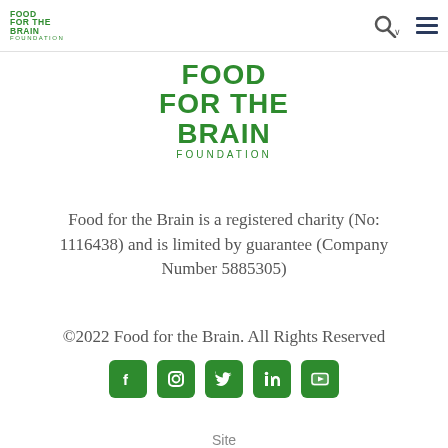[Figure (logo): Food for the Brain Foundation logo - small version in navigation bar, green text]
[Figure (logo): Food for the Brain Foundation logo - large centered version, green bold text with FOUNDATION subtitle]
Food for the Brain is a registered charity (No: 1116438) and is limited by guarantee (Company Number 5885305)
©2022 Food for the Brain. All Rights Reserved
[Figure (infographic): Row of five green social media icons: Facebook, Instagram, Twitter, LinkedIn, YouTube]